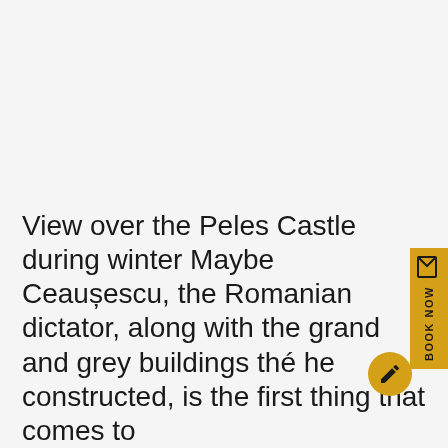[Figure (other): Yellow vertical 'BOOK NOW' button with a small edit/bookmark icon at top, positioned on the right edge of the page]
[Figure (other): Yellow circular edit/pencil button positioned at bottom right]
View over the Peles Castle during winter Maybe Ceaușescu, the Romanian dictator, along with the grand and grey buildings the he constructed, is the first thing that comes to